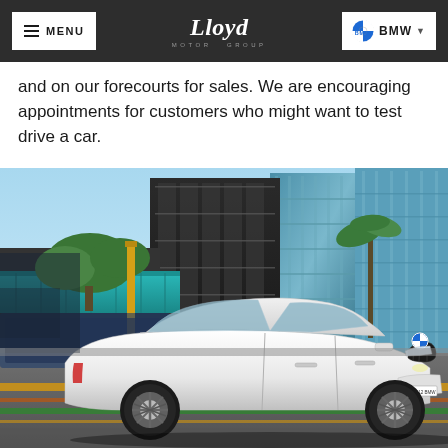MENU | Lloyd Motor Group | BMW
and on our forecourts for sales. We are encouraging appointments for customers who might want to test drive a car.
[Figure (photo): White BMW 1 Series hatchback driving on a city street, with glass-fronted modern buildings in the background and colourful street markings visible.]